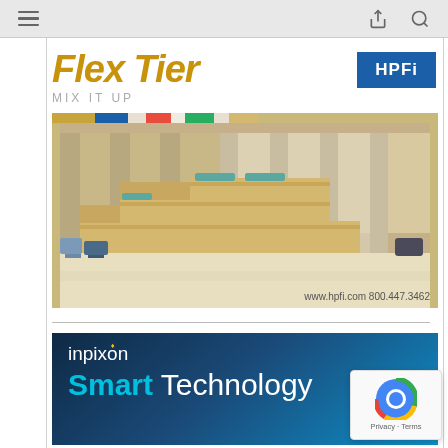Browser navigation bar with hamburger menu, share icon, and search icon
Flex Tier
[Figure (logo): HPFi logo badge in blue]
MIX IT UP
[Figure (photo): Product photo of Flex Tier modular seating/tiered platform in yellow-tan color in a modern interior space with colorful accent ottomans. URL: www.hpfi.com 800.447.3462]
[Figure (illustration): Inpixon advertisement banner showing dark blue gradient background with 'inpixon' logo with yellow pin icon and text 'Smart Technology' in white and cyan]
[Figure (other): reCAPTCHA verification widget overlay in bottom right corner with Privacy · Terms text]